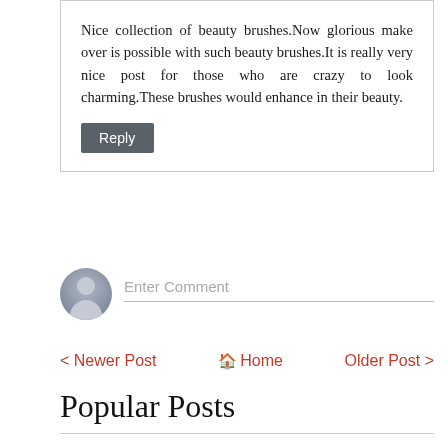Nice collection of beauty brushes.Now glorious make over is possible with such beauty brushes.It is really very nice post for those who are crazy to look charming.These brushes would enhance in their beauty.
Reply
Enter Comment
< Newer Post
Home
Older Post >
Popular Posts